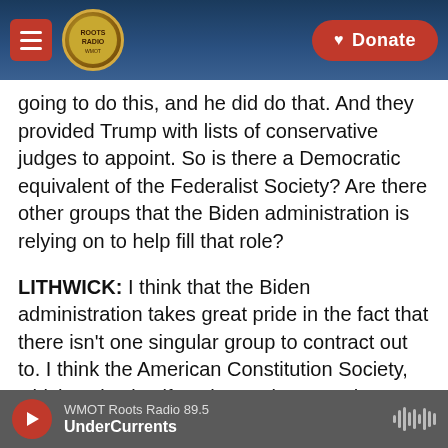[Figure (screenshot): Mobile app navigation bar with hamburger menu (red), Roots Radio logo (circular), and red Donate button on dark blue/guitar background]
going to do this, and he did do that. And they provided Trump with lists of conservative judges to appoint. So is there a Democratic equivalent of the Federalist Society? Are there other groups that the Biden administration is relying on to help fill that role?
LITHWICK: I think that the Biden administration takes great pride in the fact that there isn't one singular group to contract out to. I think the American Constitution Society, which styles itself as the analogue to the Federalist Society, is absolutely in the game now. But I think they would
WMOT Roots Radio 89.5 | UnderCurrents